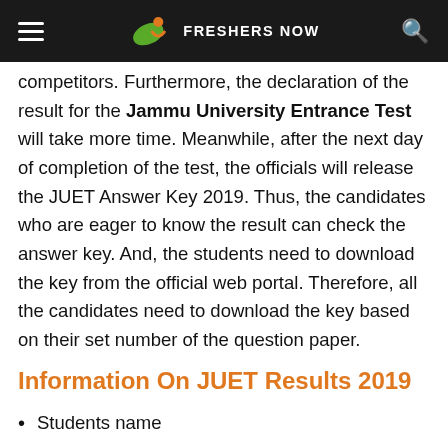FRESHERS NOW
competitors. Furthermore, the declaration of the result for the Jammu University Entrance Test will take more time. Meanwhile, after the next day of completion of the test, the officials will release the JUET Answer Key 2019. Thus, the candidates who are eager to know the result can check the answer key. And, the students need to download the key from the official web portal. Therefore, all the candidates need to download the key based on their set number of the question paper.
Information On JUET Results 2019
Students name
Students father name